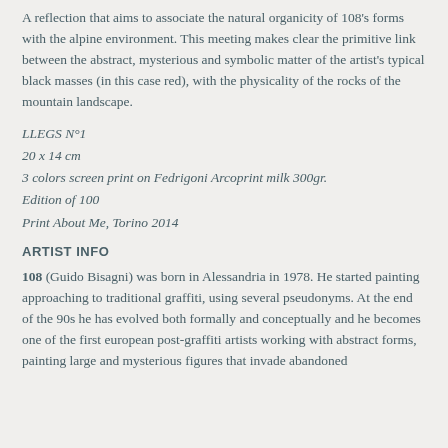A reflection that aims to associate the natural organicity of 108's forms with the alpine environment. This meeting makes clear the primitive link between the abstract, mysterious and symbolic matter of the artist's typical black masses (in this case red), with the physicality of the rocks of the mountain landscape.
LLEGS N°1
20 x 14 cm
3 colors screen print on Fedrigoni Arcoprint milk 300gr.
Edition of 100
Print About Me, Torino 2014
ARTIST INFO
108 (Guido Bisagni) was born in Alessandria in 1978. He started painting approaching to traditional graffiti, using several pseudonyms. At the end of the 90s he has evolved both formally and conceptually and he becomes one of the first european post-graffiti artists working with abstract forms, painting large and mysterious figures that invade abandoned